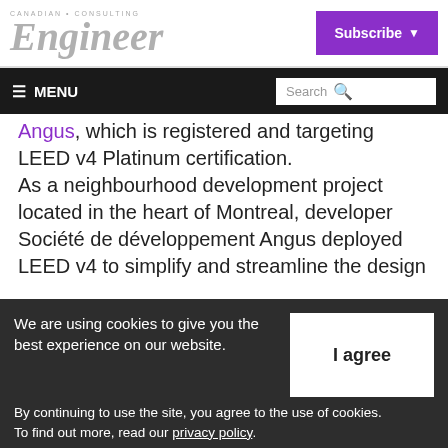CANADIAN CONSULTING Engineer — Subscribe
≡ MENU  Search
Angus, which is registered and targeting LEED v4 Platinum certification.
As a neighbourhood development project located in the heart of Montreal, developer Société de développement Angus deployed LEED v4 to simplify and streamline the design
We are using cookies to give you the best experience on our website. By continuing to use the site, you agree to the use of cookies. To find out more, read our privacy policy.